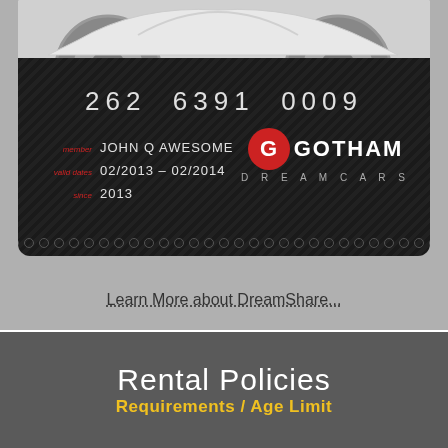[Figure (photo): Gotham Dream Cars membership card showing card number 262 6391 0009, member JOHN Q AWESOME, valid dates 02/2013 - 02/2014, since 2013, with Gotham Dream Cars logo featuring a red G circle emblem]
Learn More about DreamShare...
Rental Policies
Requirements / Age Limit